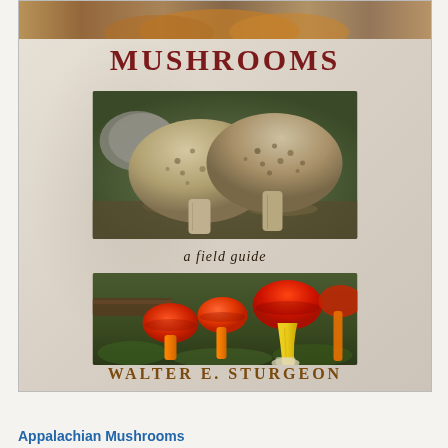[Figure (photo): Book cover of 'Appalachian Mushrooms: A Field Guide' by Walter E. Sturgeon, showing two mushroom photographs and the title text]
[Figure (photo): Top strip photo: close-up of orange/tan mushrooms]
MUSHROOMS
[Figure (photo): Middle photo: two large brown scaly-cap mushrooms (Macrolepiota or similar) growing among rocks and leaf litter]
a field guide
[Figure (photo): Bottom photo: bright orange-red waxy cap mushrooms (Hygrocybe or similar) with yellow stalks growing in green moss]
WALTER E. STURGEON
Appalachian Mushrooms